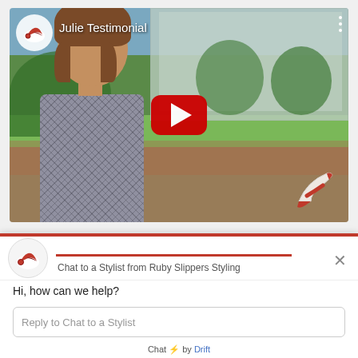[Figure (screenshot): YouTube video thumbnail showing a woman named Julie giving a testimonial for Ruby Slippers Styling, with a red play button overlay, outdoor garden/building background, Ruby Slippers logo in top-left circle, and title 'Julie Testimonial']
[Figure (screenshot): Live chat widget from Drift for Ruby Slippers Styling showing branding logo, header text 'Chat to a Stylist from Ruby Slippers Styling', greeting 'Hi, how can we help?', reply input field, and 'Chat by Drift' footer]